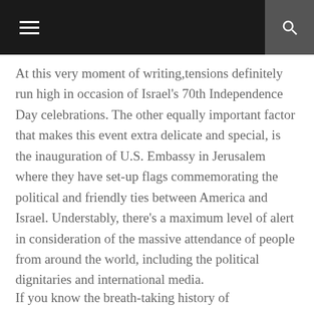☰  🔍
At this very moment of writing,tensions definitely run high in occasion of Israel's 70th Independence Day celebrations. The other equally important factor that makes this event extra delicate and special, is the inauguration of U.S. Embassy in Jerusalem where they have set-up flags commemorating the political and friendly ties between America and Israel. Understably, there's a maximum level of alert in consideration of the massive attendance of people from around the world, including the political dignitaries and international media.
If you know the breath-taking history of